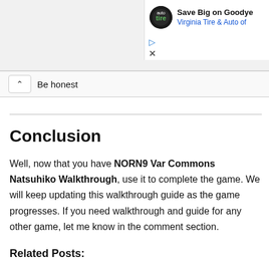[Figure (screenshot): Partial advertisement banner showing a circular logo for Virginia Tire & Auto with text 'Save Big on Goody' and 'Virginia Tire & Auto of' in blue, with ad icons (play and close).]
Be honest
Conclusion
Well, now that you have NORN9 Var Commons Natsuhiko Walkthrough, use it to complete the game. We will keep updating this walkthrough guide as the game progresses. If you need walkthrough and guide for any other game, let me know in the comment section.
Related Posts: